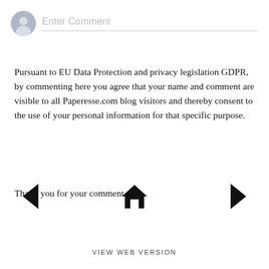[Figure (other): Comment input bar with circular avatar icon on the left and 'Enter Comment' placeholder text followed by a horizontal line]
Pursuant to EU Data Protection and privacy legislation GDPR, by commenting here you agree that your name and comment are visible to all Paperesse.com blog visitors and thereby consent to the use of your personal information for that specific purpose.
Thank you for your comment.
[Figure (other): Navigation row with left arrow chevron, home icon, and right arrow chevron]
VIEW WEB VERSION